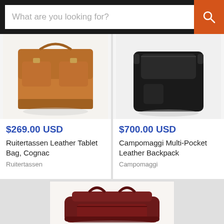[Figure (screenshot): Search bar with placeholder text 'What are you looking for?' and orange search button]
[Figure (photo): Cognac/tan leather tablet bag (Ruitertassen) with buckle flap pockets]
$269.00 USD
Ruitertassen Leather Tablet Bag, Cognac
Ruitertassen
[Figure (photo): Black leather multi-pocket backpack (Campomaggi)]
$700.00 USD
Campomaggi Multi-Pocket Leather Backpack
Campomaggi
[Figure (photo): Dark red/burgundy leather duffel/travel bag with two handles (partially visible)]